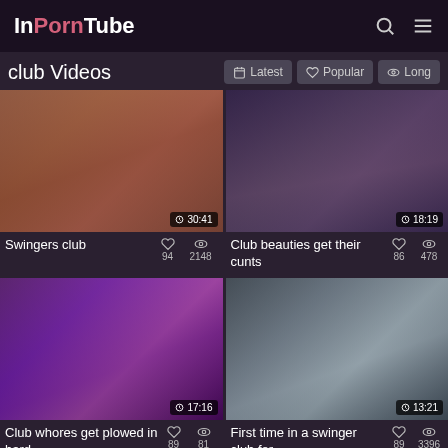InPornTube
club Videos
Latest | Popular | Long
[Figure (screenshot): Video thumbnail: Swingers club video, duration 30:41]
Swingers club  ♡ 94  👁 2148
[Figure (screenshot): Video thumbnail: Club beauties get their cunts, duration 18:19]
Club beauties get their cunts  ♡ 86  👁 478
[Figure (screenshot): Video thumbnail: Club whores get plowed in hard, duration 17:16]
Club whores get plowed in hard  ♡ 89  👁 81
[Figure (screenshot): Video thumbnail: First time in a swinger club for, duration 13:21]
First time in a swinger club for  ♡ 89  👁 3396